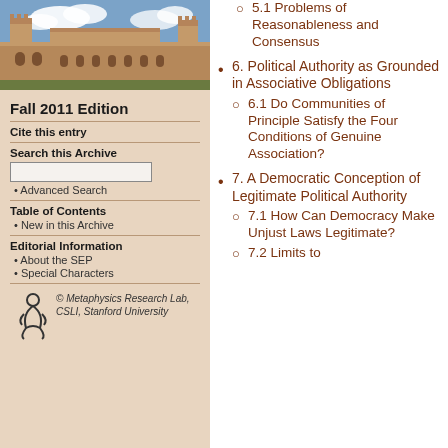[Figure (photo): Photograph of a sandstone university building (quadrangle) under blue sky with clouds]
Fall 2011 Edition
Cite this entry
Search this Archive
Advanced Search
Table of Contents
New in this Archive
Editorial Information
About the SEP
Special Characters
[Figure (logo): Metaphysics Research Lab logo (stylized figure)]
© Metaphysics Research Lab, CSLI, Stanford University
5.1 Problems of Reasonableness and Consensus
6. Political Authority as Grounded in Associative Obligations
6.1 Do Communities of Principle Satisfy the Four Conditions of Genuine Association?
7. A Democratic Conception of Legitimate Political Authority
7.1 How Can Democracy Make Unjust Laws Legitimate?
7.2 Limits to